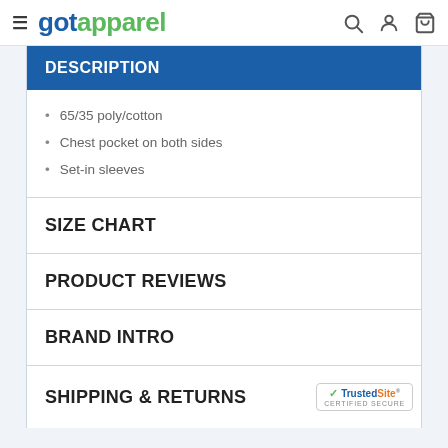gotapparel
DESCRIPTION
65/35 poly/cotton
Chest pocket on both sides
Set-in sleeves
SIZE CHART
PRODUCT REVIEWS
BRAND INTRO
SHIPPING & RETURNS